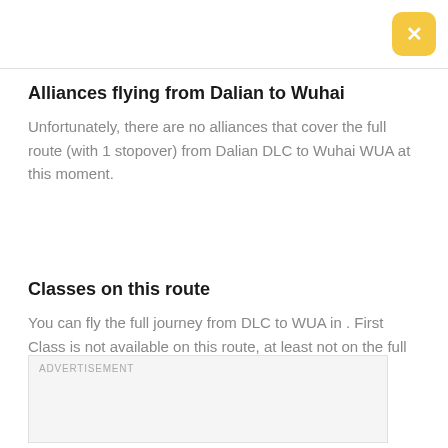Alliances flying from Dalian to Wuhai
Unfortunately, there are no alliances that cover the full route (with 1 stopover) from Dalian DLC to Wuhai WUA at this moment.
Classes on this route
You can fly the full journey from DLC to WUA in . First Class is not available on this route, at least not on the full route with just 1 stopover.
ADVERTISEMENT